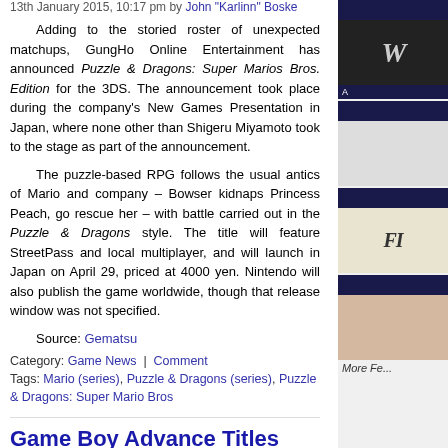13th January 2015, 10:17 pm by John "Karlinn" Boske
Adding to the storied roster of unexpected matchups, GungHo Online Entertainment has announced Puzzle & Dragons: Super Marios Bros. Edition for the 3DS. The announcement took place during the company's New Games Presentation in Japan, where none other than Shigeru Miyamoto took to the stage as part of the announcement.
The puzzle-based RPG follows the usual antics of Mario and company – Bowser kidnaps Princess Peach, go rescue her – with battle carried out in the Puzzle & Dragons style. The title will feature StreetPass and local multiplayer, and will launch in Japan on April 29, priced at 4000 yen. Nintendo will also publish the game worldwide, though that release window was not specified.
Source: Gematsu
Category: Game News | Comment
Tags: Mario (series), Puzzle & Dragons (series), Puzzle & Dragons: Super Mario Bros
Game Boy Advance Titles Scheduled for Virtual Console
1st April 2014, 09:28 pm by John "Karlinn" Boske
Nintendo has scheduled several Game Boy Advance titles to be